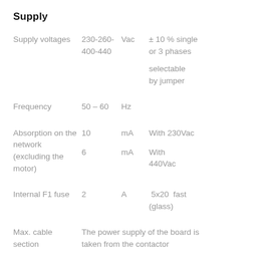Supply
| Parameter | Value | Unit | Notes |
| --- | --- | --- | --- |
| Supply voltages | 230-260-400-440 | Vac | ± 10 % single or 3 phases
selectable by jumper |
| Frequency | 50 – 60 | Hz |  |
| Absorption on the network (excluding the motor) | 10 | mA | With 230Vac |
|  | 6 | mA | With 440Vac |
| Internal F1 fuse | 2 | A | 5x20  fast (glass) |
| Max. cable section | The power supply of the board is taken from the contactor |  |  |